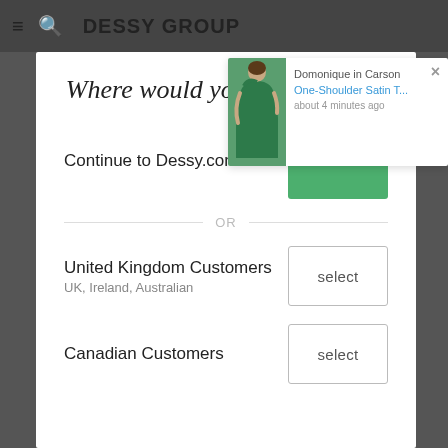DESSY GROUP
[Figure (screenshot): Popup notification showing a woman in a green one-shoulder satin dress with text: Domonique in Carson, One-Shoulder Satin T..., about 4 minutes ago]
Where would you like to shop?
Continue to Dessy.com USA
select
OR
United Kingdom Customers
UK, Ireland, Australian
select
Canadian Customers
select